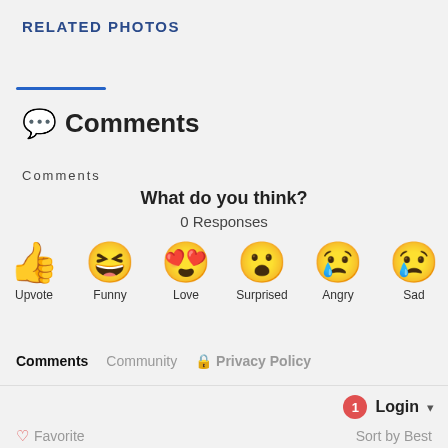RELATED PHOTOS
💬 Comments
Comments
What do you think?
0 Responses
[Figure (infographic): Six emoji reaction buttons: Upvote (thumbs up), Funny (laughing face with tongue), Love (heart eyes), Surprised (shocked face), Angry (crying/angry face), Sad (crying face with tear)]
Comments   Community   🔒 Privacy Policy
1  Login ▾
♡ Favorite
Sort by Best